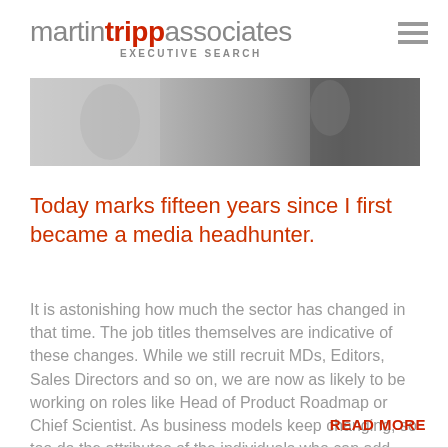martin tripp associates EXECUTIVE SEARCH
[Figure (photo): Black and white photo strip of people in a professional setting, used as header banner image]
Today marks fifteen years since I first became a media headhunter.
It is astonishing how much the sector has changed in that time. The job titles themselves are indicative of these changes. While we still recruit MDs, Editors, Sales Directors and so on, we are now as likely to be working on roles like Head of Product Roadmap or Chief Scientist. As business models keep changing, so too do the attributes of the individuals who can add value.
READ MORE